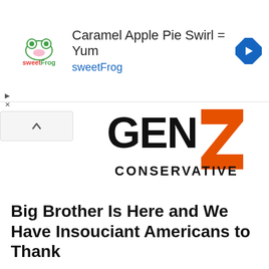[Figure (screenshot): SweetFrog advertisement banner with logo, headline 'Caramel Apple Pie Swirl = Yum', subtext 'sweetFrog', and a blue diamond navigation arrow icon]
[Figure (logo): Gen Z Conservative logo: bold black 'GEN' with large orange 'Z', and 'CONSERVATIVE' in bold black capitals below]
Big Brother Is Here and We Have Insouciant Americans to Thank
by Gen Z Conservative / August 24, 2021 / Politics